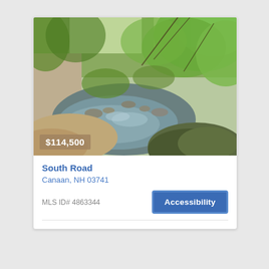[Figure (photo): Outdoor nature photo showing a rocky stream or creek with calm water, surrounded by lush green trees and foliage with sunlight filtering through the leaves. A mossy rock is visible in the foreground.]
$114,500
South Road
Canaan, NH 03741
MLS ID# 4863344
Accessibility